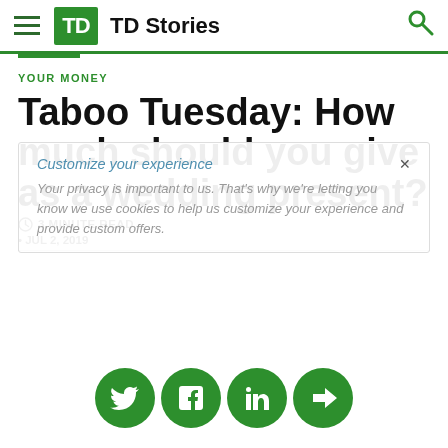TD Stories
YOUR MONEY
Taboo Tuesday: How much should you give as a wedding present?
3 MINUTE READ
• JUL 2, 2019
Customize your experience  ×
Your privacy is important to us. That's why we're letting you know we use cookies to help us customize your experience and provide custom offers.
Peak wedding as us, and if you're lucky and got invites to a few of
[Figure (infographic): Social sharing icons: Twitter, Facebook, LinkedIn, and a forward/share button, all in green circles]